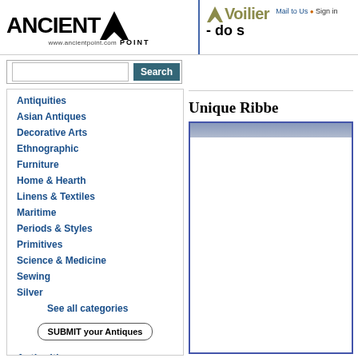[Figure (logo): AncientPoint logo with triangle and www.ancientpoint.com URL]
[Figure (logo): AVoilier/AVolner logo partially visible on right side with Mail to Us and Sign in links]
Search
Antiquities
Asian Antiques
Decorative Arts
Ethnographic
Furniture
Home & Hearth
Linens & Textiles
Maritime
Periods & Styles
Primitives
Science & Medicine
Sewing
Silver
See all categories
SUBMIT your Antiques
Antiquities
Unique Ribbe